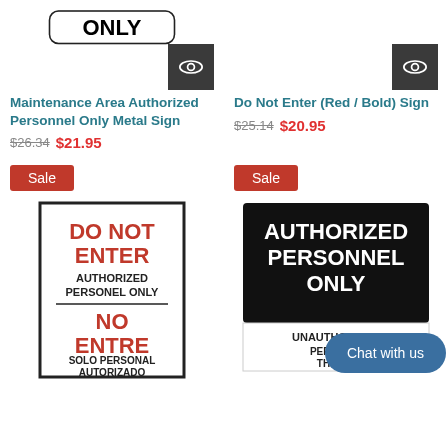[Figure (photo): Partial top of a metal sign showing 'ONLY' text with rounded rectangle border]
Maintenance Area Authorized Personnel Only Metal Sign
$26.34  $21.95
[Figure (photo): Eye/quick view icon badge on dark background]
Do Not Enter (Red / Bold) Sign
$25.14  $20.95
Sale
Sale
[Figure (photo): Do Not Enter / No Entre bilingual sign with red bold text on white background]
[Figure (photo): Authorized Personnel Only sign with white text on black background, with Chat with us overlay button]